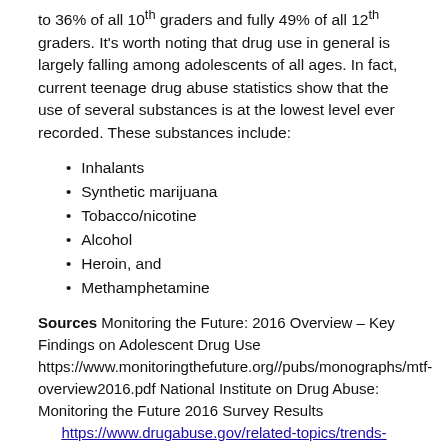to 36% of all 10th graders and fully 49% of all 12th graders. It's worth noting that drug use in general is largely falling among adolescents of all ages. In fact, current teenage drug abuse statistics show that the use of several substances is at the lowest level ever recorded. These substances include:
Inhalants
Synthetic marijuana
Tobacco/nicotine
Alcohol
Heroin, and
Methamphetamine
Sources Monitoring the Future: 2016 Overview – Key Findings on Adolescent Drug Use https://www.monitoringthefuture.org//pubs/monographs/mtf-overview2016.pdf National Institute on Drug Abuse: Monitoring the Future 2016 Survey Results https://www.drugabuse.gov/related-topics/trends-statistics/infographics/monitoring-